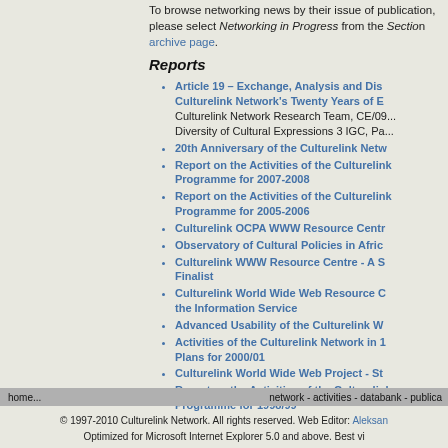To browse networking news by their issue of publication, please select Networking in Progress from the Section archive page.
Reports
Article 19 – Exchange, Analysis and Dis... Culturelink Network's Twenty Years of E... Culturelink Network Research Team, CE/09... Diversity of Cultural Expressions 3 IGC, Pa...
20th Anniversary of the Culturelink Netw...
Report on the Activities of the Culturelink... Programme for 2007-2008
Report on the Activities of the Culturelink... Programme for 2005-2006
Culturelink OCPA WWW Resource Centr...
Observatory of Cultural Policies in Afric...
Culturelink WWW Resource Centre - A S... Finalist
Culturelink World Wide Web Resource C... the Information Service
Advanced Usability of the Culturelink W...
Activities of the Culturelink Network in 1... Plans for 2000/01
Culturelink World Wide Web Project - St...
Report on the Activities of the Culturelink... Programme for 1998/99
home... | network - activities - databank - publica... | © 1997-2010 Culturelink Network. All rights reserved. Web Editor: Aleksan... | Optimized for Microsoft Internet Explorer 5.0 and above. Best vi...